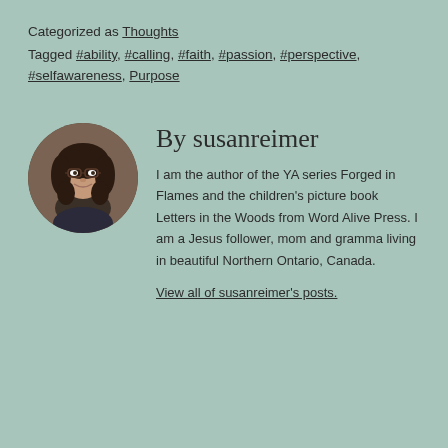Categorized as Thoughts
Tagged #ability, #calling, #faith, #passion, #perspective, #selfawareness, Purpose
[Figure (photo): Circular portrait photo of susanreimer, a woman with dark curly hair and glasses, smiling, wearing a dark top]
By susanreimer
I am the author of the YA series Forged in Flames and the children's picture book Letters in the Woods from Word Alive Press. I am a Jesus follower, mom and gramma living in beautiful Northern Ontario, Canada.
View all of susanreimer's posts.